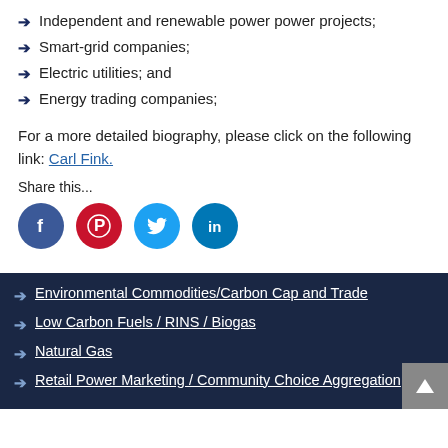Independent and renewable power projects;
Smart-grid companies;
Electric utilities; and
Energy trading companies;
For a more detailed biography, please click on the following link: Carl Fink.
Share this...
[Figure (infographic): Social media sharing icons: Facebook (blue circle), Pinterest (red circle), Twitter (light blue circle), LinkedIn (blue circle)]
Environmental Commodities/Carbon Cap and Trade
Low Carbon Fuels / RINS / Biogas
Natural Gas
Retail Power Marketing / Community Choice Aggregation